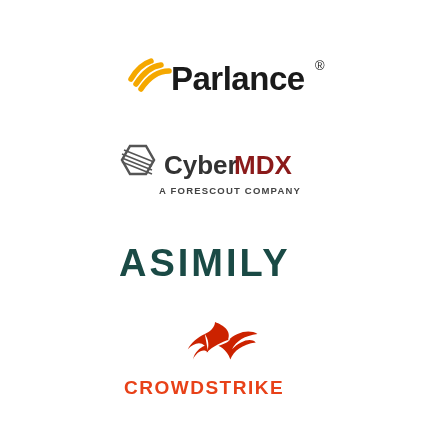[Figure (logo): Parlance logo with yellow arc/signal icon and bold black text 'Parlance' with registered trademark symbol]
[Figure (logo): CyberMDX logo with hexagonal shield icon, text 'Cyber' in dark gray and 'MDX' in dark red, subtitle 'A FORESCOUT COMPANY']
[Figure (logo): ASIMILY logo in bold dark teal/green capital letters]
[Figure (logo): CrowdStrike logo with red falcon/bird icon and orange-red capital text 'CROWDSTRIKE']